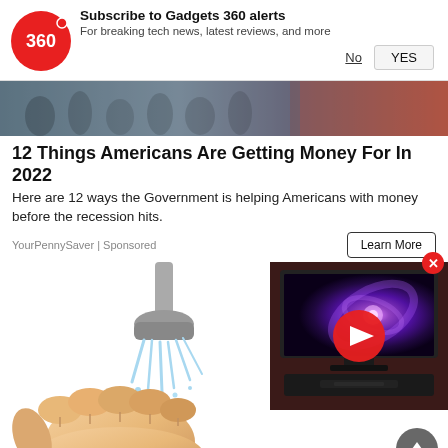[Figure (logo): Gadgets 360 logo - red circle with '360' text in white]
Subscribe to Gadgets 360 alerts
For breaking tech news, latest reviews, and more
No
YES
[Figure (photo): Banner photo strip showing crowd/people and some aerial scene]
12 Things Americans Are Getting Money For In 2022
Here are 12 ways the Government is helping Americans with money before the recession hits.
YourPennySaver | Sponsored
Learn More
[Figure (illustration): Cartoon illustration of hands being washed under a shower head with water splashing]
[Figure (screenshot): Video player overlay showing a TV with a galaxy/nebula on screen and a red play button]